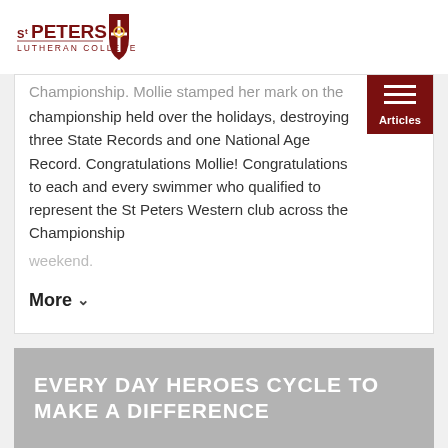[Figure (logo): St Peters Lutheran College logo — shield with cross/flower and text 'St Peters Lutheran College']
Championship. Mollie stamped her mark on the championship held over the holidays, destroying three State Records and one National Age Record. Congratulations Mollie! Congratulations to each and every swimmer who qualified to represent the St Peters Western club across the Championship weekend.
More ∨
EVERY DAY HEROES CYCLE TO MAKE A DIFFERENCE